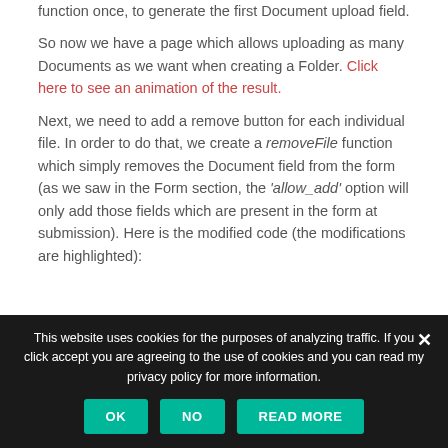function once, to generate the first Document upload field.
So now we have a page which allows uploading as many Documents as we want when creating a Folder. Click here to see an animation of the result.
Next, we need to add a remove button for each individual file. In order to do that, we create a removeFile function which simply removes the Document field from the form (as we saw in the Form section, the 'allow_add' option will only add those fields which are present in the form at submission). Here is the modified code (the modifications are highlighted):
[Figure (screenshot): Partial view of a code editor toolbar strip at the bottom of the content area]
This website uses cookies for the purposes of analyzing traffic. If you click accept you are agreeing to the use of cookies and you can read my privacy policy for more information.